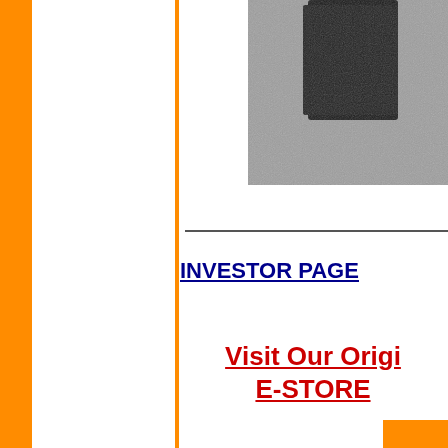[Figure (photo): Photo of a dark object on a grey textured surface, shown in upper right portion of page]
Visit Our Original E-STORE
INVESTOR PAGE
Moderustic® and 1 Patent pending Covering our method of c... Patent Applications Published 2005, 20... Safe FIR...